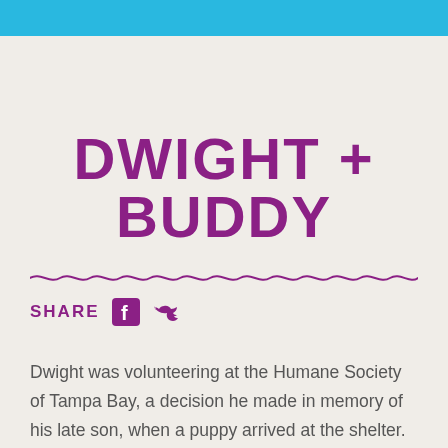DWIGHT + BUDDY
SHARE
Dwight was volunteering at the Humane Society of Tampa Bay, a decision he made in memory of his late son, when a puppy arrived at the shelter. For Dwight, adopting Buddy felt like it was